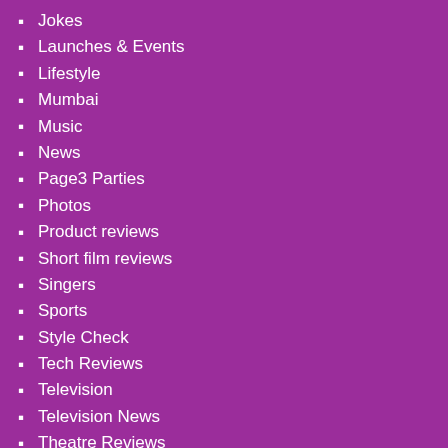Jokes
Launches & Events
Lifestyle
Mumbai
Music
News
Page3 Parties
Photos
Product reviews
Short film reviews
Singers
Sports
Style Check
Tech Reviews
Television
Television News
Theatre Reviews